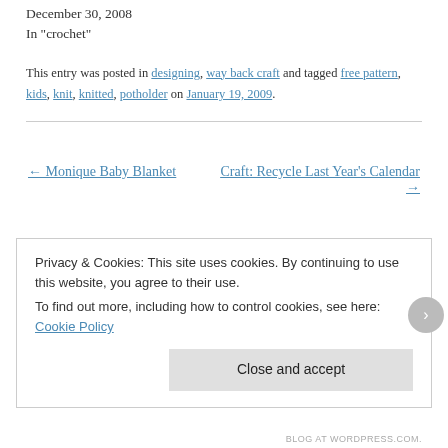December 30, 2008
In "crochet"
This entry was posted in designing, way back craft and tagged free pattern, kids, knit, knitted, potholder on January 19, 2009.
← Monique Baby Blanket
Craft: Recycle Last Year's Calendar →
Privacy & Cookies: This site uses cookies. By continuing to use this website, you agree to their use.
To find out more, including how to control cookies, see here: Cookie Policy
Close and accept
BLOG AT WORDPRESS.COM.